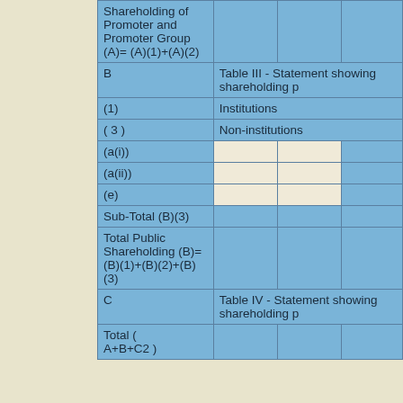| Shareholding of Promoter and Promoter Group (A)= (A)(1)+(A)(2) |  |  |  |
| B | Table III - Statement showing shareholding p |  |  |
| (1) | Institutions |  |  |
| ( 3 ) | Non-institutions |  |  |
| (a(i)) |  |  |  |
| (a(ii)) |  |  |  |
| (e) |  |  |  |
| Sub-Total (B)(3) |  |  |  |
| Total Public Shareholding (B)=(B)(1)+(B)(2)+(B)(3) |  |  |  |
| C | Table IV - Statement showing shareholding p |  |  |
| Total ( A+B+C2 ) |  |  |  |